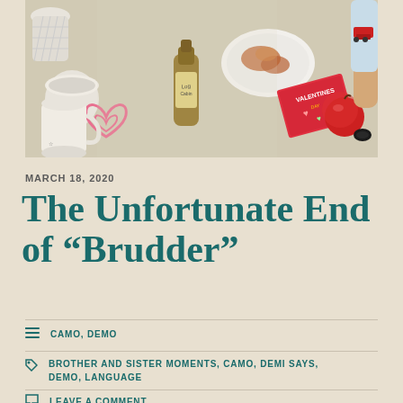[Figure (photo): Top-down photo of a table with Valentine's Day decorations, heart cut-outs, a syrup bottle, plates with food, a red toy/ball, and a child's arm visible at the right edge.]
MARCH 18, 2020
The Unfortunate End of “Brudder”
CAMO, DEMO
BROTHER AND SISTER MOMENTS, CAMO, DEMI SAYS, DEMO, LANGUAGE
LEAVE A COMMENT